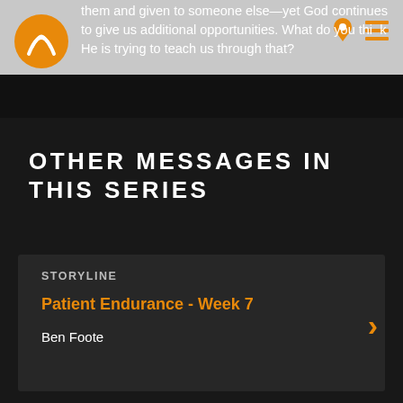them and given to someone else—yet God continues to give us additional opportunities. What do you think He is trying to teach us through that?
OTHER MESSAGES IN THIS SERIES
STORYLINE
Patient Endurance - Week 7
Ben Foote